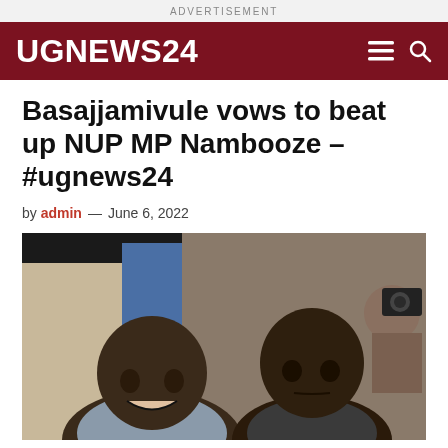ADVERTISEMENT
UGNEWS24
Basajjamivule vows to beat up NUP MP Nambooze – #ugnews24
by admin — June 6, 2022
[Figure (photo): Two men photographed together; one older man laughing on the left, one younger man on the right with a serious expression, with people and a camera visible in the background]